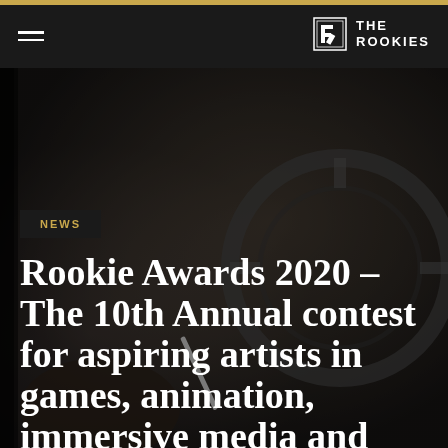THE ROOKIES
[Figure (photo): Dark background photo showing a person holding a stylus/pen near a steering wheel or headphones, blurred background, moody lighting]
NEWS
Rookie Awards 2020 – The 10th Annual contest for aspiring artists in games, animation, immersive media and more.